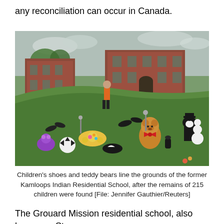any reconciliation can occur in Canada.
[Figure (photo): Children's shoes and teddy bears laid on green grass in front of a red brick building (former Kamloops Indian Residential School). A person in an orange jacket walks in the background. Various stuffed animals, shoes, and toys are scattered across the lawn.]
Children's shoes and teddy bears line the grounds of the former Kamloops Indian Residential School, after the remains of 215 children were found [File: Jennifer Gauthier/Reuters]
The Grouard Mission residential school, also known as St